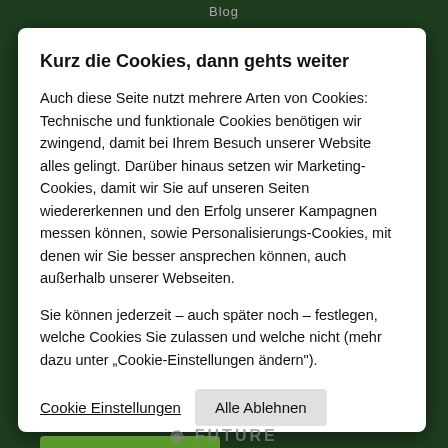Blog
Kurz die Cookies, dann gehts weiter
Auch diese Seite nutzt mehrere Arten von Cookies: Technische und funktionale Cookies benötigen wir zwingend, damit bei Ihrem Besuch unserer Website alles gelingt. Darüber hinaus setzen wir Marketing-Cookies, damit wir Sie auf unseren Seiten wiedererkennen und den Erfolg unserer Kampagnen messen können, sowie Personalisierungs-Cookies, mit denen wir Sie besser ansprechen können, auch außerhalb unserer Webseiten.
Sie können jederzeit – auch später noch – festlegen, welche Cookies Sie zulassen und welche nicht (mehr dazu unter „Cookie-Einstellungen ändern").
Cookie Einstellungen   Alle Ablehnen   Alle Akzeptieren